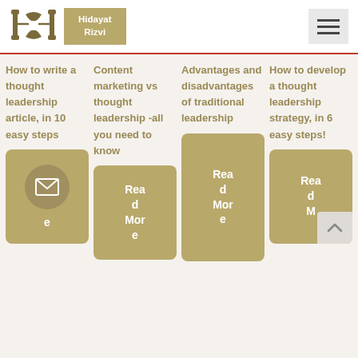Hidayat Rizvi
How to write a thought leadership article, in 10 easy steps
Content marketing vs thought leadership -all you need to know
Advantages and disadvantages of traditional leadership
How to develop a thought leadership strategy, in 6 easy steps!
[Figure (other): Email subscribe button card with envelope icon]
[Figure (other): Read More button card]
[Figure (other): Read More button card]
[Figure (other): Read More button card with scroll-to-top overlay]